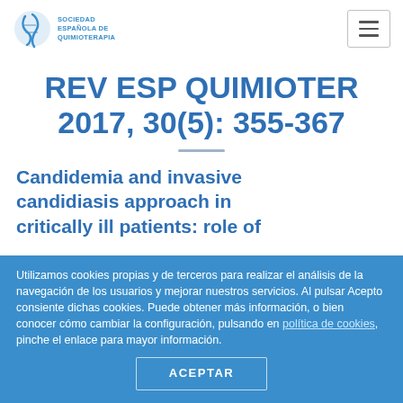[Figure (logo): Sociedad Española de Quimioterapia logo with blue circular emblem and text]
REV ESP QUIMIOTER 2017, 30(5): 355-367
Candidemia and invasive candidiasis approach in critically ill patients: role of
Utilizamos cookies propias y de terceros para realizar el análisis de la navegación de los usuarios y mejorar nuestros servicios. Al pulsar Acepto consiente dichas cookies. Puede obtener más información, o bien conocer cómo cambiar la configuración, pulsando en política de cookies, pinche el enlace para mayor información.